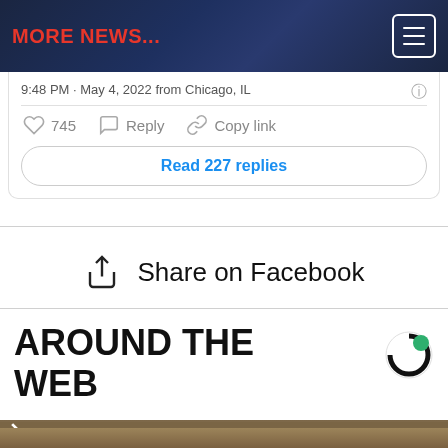MORE NEWS...
9:48 PM · May 4, 2022 from Chicago, IL
745  Reply  Copy link
Read 227 replies
Share on Facebook
AROUND THE WEB
[Figure (photo): Video thumbnail showing a dark framed object on a textured wall background, with a mute/sound-off icon in the upper left corner]